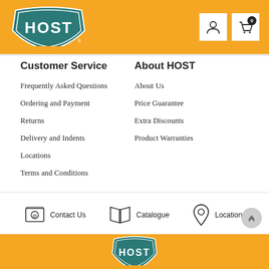[Figure (logo): HOST logo in teal shield shape with white text on orange header background]
Customer Service
Frequently Asked Questions
Ordering and Payment
Returns
Delivery and Indents
Locations
Terms and Conditions
About HOST
About Us
Price Guarantee
Extra Discounts
Product Warranties
[Figure (infographic): Three icon links: Contact Us (envelope/at icon), Catalogue (open book icon), Locations (map pin icon)]
[Figure (logo): HOST logo in teal shield shape in footer orange bar]